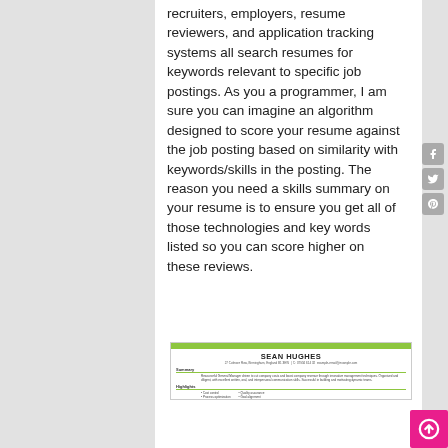recruiters, employers, resume reviewers, and application tracking systems all search resumes for keywords relevant to specific job postings. As you a programmer, I am sure you can imagine an algorithm designed to score your resume against the job posting based on similarity with keywords/skills in the posting. The reason you need a skills summary on your resume is to ensure you get all of those technologies and key words listed so you can score higher on these reviews.
[Figure (other): Resume preview for Sean Hughes showing a green header bar, name, contact info, Summary section, and Highlights section with bullet points including Cost control, Quality assurance, Process optimization, Goal alignment.]